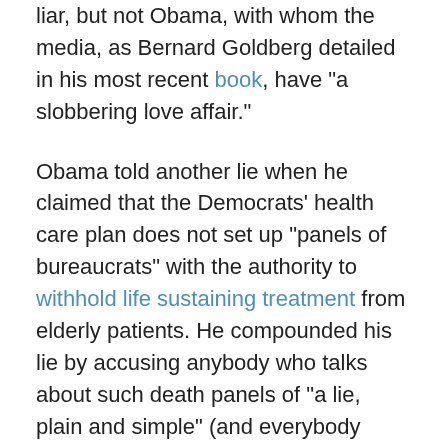liar, but not Obama, with whom the media, as Bernard Goldberg detailed in his most recent book, have "a slobbering love affair."
Obama told another lie when he claimed that the Democrats' health care plan does not set up "panels of bureaucrats" with the authority to withhold life sustaining treatment from elderly patients. He compounded his lie by accusing anybody who talks about such death panels of "a lie, plain and simple" (and everybody recognized as a not-so-subtle reference to Sarah Palin).
Another lie in Obama's speech was saying that the plan does not jeopardize Medicare benefits